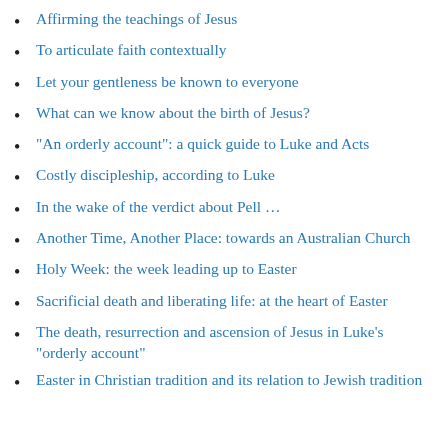Affirming the teachings of Jesus
To articulate faith contextually
Let your gentleness be known to everyone
What can we know about the birth of Jesus?
“An orderly account”: a quick guide to Luke and Acts
Costly discipleship, according to Luke
In the wake of the verdict about Pell …
Another Time, Another Place: towards an Australian Church
Holy Week: the week leading up to Easter
Sacrificial death and liberating life: at the heart of Easter
The death, resurrection and ascension of Jesus in Luke’s “orderly account”
Easter in Christian tradition and its relation to Jewish tradition